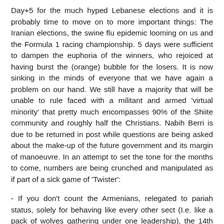Day+5 for the much hyped Lebanese elections and it is probably time to move on to more important things: The Iranian elections, the swine flu epidemic looming on us and the Formula 1 racing championship. 5 days were sufficient to dampen the euphoria of the winners, who rejoiced at having burst the (orange) bubble for the losers. It is now sinking in the minds of everyone that we have again a problem on our hand. We still have a majority that will be unable to rule faced with a militant and armed 'virtual minority' that pretty much encompasses 90% of the Shiite community and roughly half the Christians. Nabih Berri is due to be returned in post while questions are being asked about the make-up of the future government and its margin of manoeuvre. In an attempt to set the tone for the months to come, numbers are being crunched and manipulated as if part of a sick game of 'Twister':
- If you don't count the Armenians, relegated to pariah status, solely for behaving like every other sect (I.e. like a pack of wolves gathering under one leadership), the 14th March alliance represents 58% of those Christians who voted.